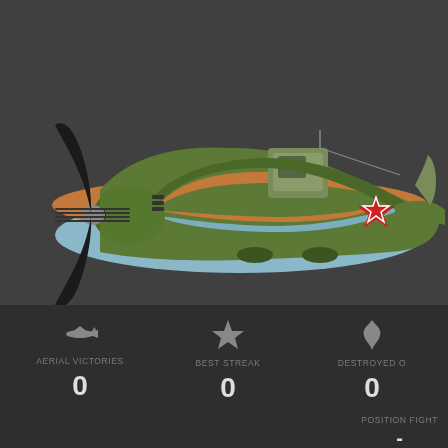[Figure (illustration): Side view of a Soviet WWII fighter aircraft (Lavochkin or MiG type) with green and orange camouflage on top, light blue underside, red star marking, and black propeller, displayed against a dark gray background.]
AERIAL VICTORIES
0
BEST STREAK
0
DESTROYED O
0
POSITION FIGHT
-